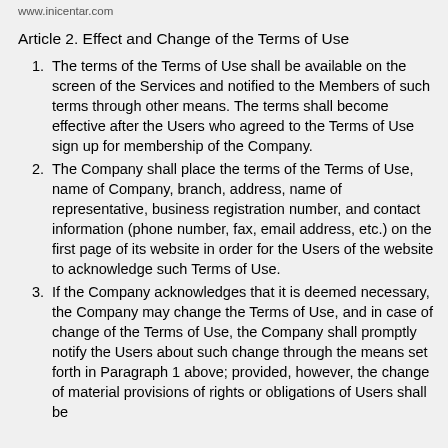www.inicentar.com
Article 2. Effect and Change of the Terms of Use
The terms of the Terms of Use shall be available on the screen of the Services and notified to the Members of such terms through other means. The terms shall become effective after the Users who agreed to the Terms of Use sign up for membership of the Company.
The Company shall place the terms of the Terms of Use, name of Company, branch, address, name of representative, business registration number, and contact information (phone number, fax, email address, etc.) on the first page of its website in order for the Users of the website to acknowledge such Terms of Use.
If the Company acknowledges that it is deemed necessary, the Company may change the Terms of Use, and in case of change of the Terms of Use, the Company shall promptly notify the Users about such change through the means set forth in Paragraph 1 above; provided, however, the change of material provisions of rights or obligations of Users shall be notified to Users at least seven (7) days prior to and...